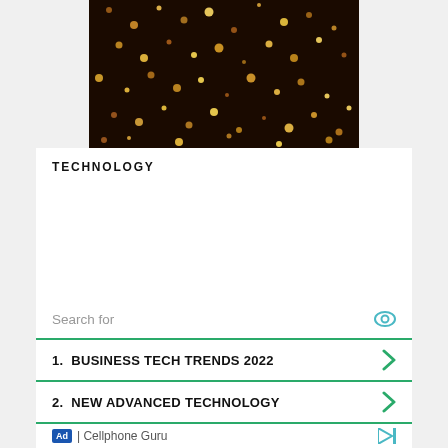[Figure (photo): Dark background with scattered golden/orange glowing dots pattern, like bokeh lights or stars against a dark surface]
TECHNOLOGY
[Figure (infographic): Advertisement search box section with: 'Search for' header with eye icon, item 1: BUSINESS TECH TRENDS 2022, item 2: NEW ADVANCED TECHNOLOGY, footer: Ad | Cellphone Guru with play icon]